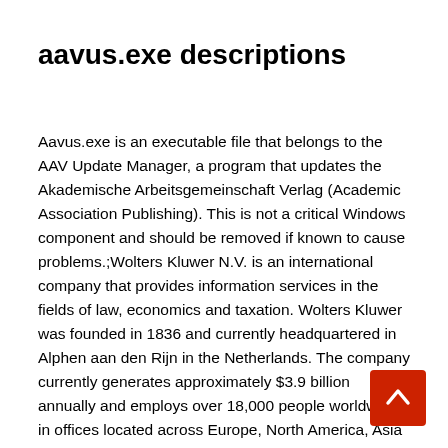aavus.exe descriptions
Aavus.exe is an executable file that belongs to the AAV Update Manager, a program that updates the Akademische Arbeitsgemeinschaft Verlag (Academic Association Publishing). This is not a critical Windows component and should be removed if known to cause problems.;Wolters Kluwer N.V. is an international company that provides information services in the fields of law, economics and taxation. Wolters Kluwer was founded in 1836 and currently headquartered in Alphen aan den Rijn in the Netherlands. The company currently generates approximately $3.9 billion annually and employs over 18,000 people worldwide in offices located across Europe, North America, Asia Pacific and Latin America.;AAVUS stands for A kademische A rbeitsgemeinschaft V erlag (Academic Association Publishing) U pdate S ervice;The.exe extensi a filename indicates an exe cutable file. Executable files may, in